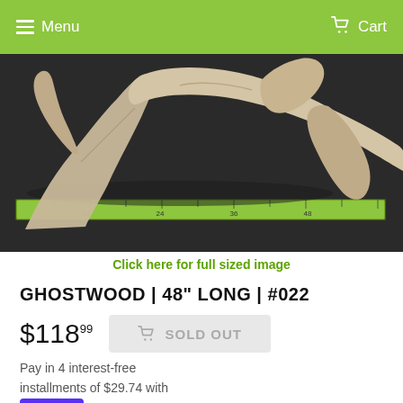Menu  Cart
[Figure (photo): Driftwood / ghostwood piece photographed on dark background with a measuring tape showing approximately 48 inches length]
Click here for full sized image
GHOSTWOOD | 48" LONG | #022
$118.99  SOLD OUT
Pay in 4 interest-free installments of $29.74 with shop Pay  Learn more